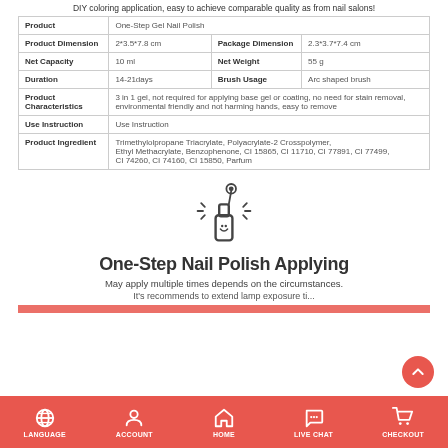DIY coloring application, easy to achieve comparable quality as from nail salons!
| Field | Value | Field2 | Value2 |
| --- | --- | --- | --- |
| Product | One-Step Gel Nail Polish |  |  |
| Product Dimension | 2*3.5*7.8 cm | Package Dimension | 2.3*3.7*7.4 cm |
| Net Capacity | 10 ml | Net Weight | 55 g |
| Duration | 14-21days | Brush Usage | Arc shaped brush |
| Product Characteristics | 3 in 1 gel, not required for applying base gel or coating, no need for stain removal, environmental friendly and not harming hands, easy to remove |  |  |
| Use Instruction | Use Instruction |  |  |
| Product Ingredient | Trimethylolpropane Triacrylate, Polyacrylate-2 Crosspolymer, Ethyl Methacrylate, Benzophenone, CI 15865, CI 11710, CI 77891, CI 77499, CI 74260, CI 74160, CI 15850, Parfum |  |  |
[Figure (illustration): Nail polish brush icon with sparkles]
One-Step Nail Polish Applying
May apply multiple times depends on the circumstances.
It's recommends to extend lamp exposure ti...
LANGUAGE | ACCOUNT | HOME | LIVE CHAT | CHECKOUT